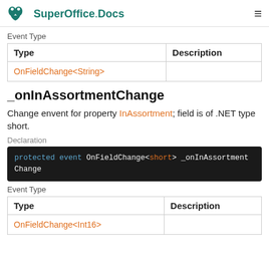SuperOffice Docs
Event Type
| Type | Description |
| --- | --- |
| OnFieldChange<String> |  |
_onInAssortmentChange
Change envent for property InAssortment; field is of .NET type short.
Declaration
protected event OnFieldChange<short> _onInAssortmentChange
Event Type
| Type | Description |
| --- | --- |
| OnFieldChange<Int16> |  |